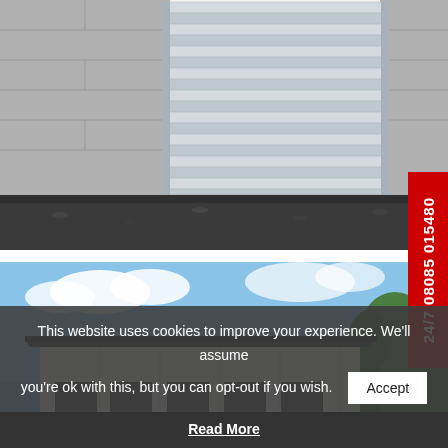[Figure (photo): Close-up photo of a corrugated metal roller shutter door, galvanised steel, set into a concrete block wall with gravel ground in front.]
[Figure (photo): Exterior photo of a large industrial warehouse/storage building with white cladding, dark roof trim, multiple roller shutter doors, set against a blue sky with trees.]
24/7 08085 015480
This website uses cookies to improve your experience. We'll assume you're ok with this, but you can opt-out if you wish.
Accept
Read More